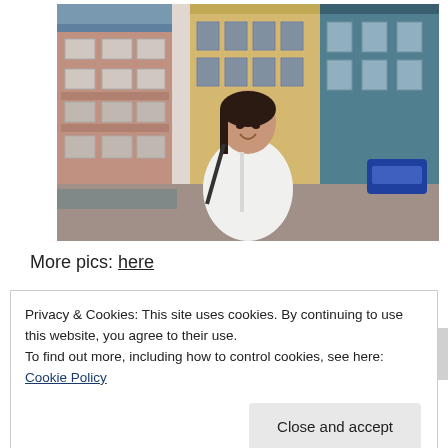[Figure (photo): Woman in white zip-up jacket smiling on a street with colorful Art Deco buildings in the background]
More pics: here
Privacy & Cookies: This site uses cookies. By continuing to use this website, you agree to their use.
To find out more, including how to control cookies, see here: Cookie Policy